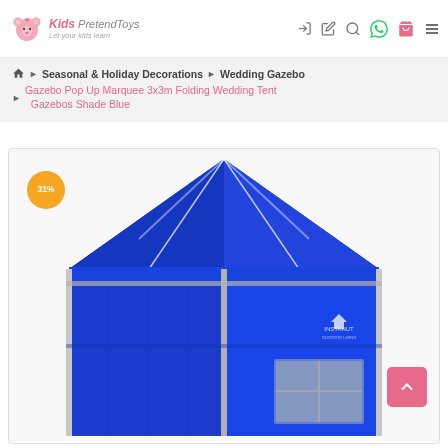Kids Pretend Toys — Let your kids learn
Seasonal & Holiday Decorations › Wedding Gazebo › Gazebo Pop Up Marquee 3x3m Folding Wedding Tent Gazebos Shade Blue
[Figure (photo): Blue 3x3m pop-up gazebo tent with side walls and a window panel, shown outdoors. A 31% discount badge is displayed in the top-left corner. An InstaHut brand logo appears on the tent. A pink scroll-to-top button is in the lower right.]